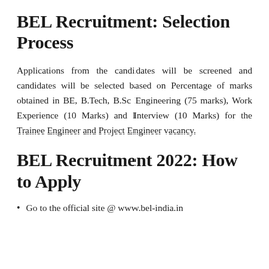BEL Recruitment: Selection Process
Applications from the candidates will be screened and candidates will be selected based on Percentage of marks obtained in BE, B.Tech, B.Sc Engineering (75 marks), Work Experience (10 Marks) and Interview (10 Marks) for the Trainee Engineer and Project Engineer vacancy.
BEL Recruitment 2022: How to Apply
Go to the official site @ www.bel-india.in